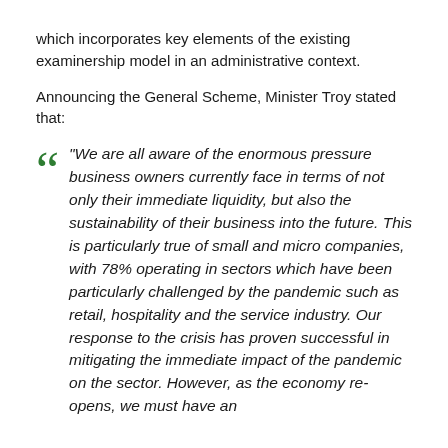which incorporates key elements of the existing examinership model in an administrative context.
Announcing the General Scheme, Minister Troy stated that:
“We are all aware of the enormous pressure business owners currently face in terms of not only their immediate liquidity, but also the sustainability of their business into the future. This is particularly true of small and micro companies, with 78% operating in sectors which have been particularly challenged by the pandemic such as retail, hospitality and the service industry. Our response to the crisis has proven successful in mitigating the immediate impact of the pandemic on the sector. However, as the economy re-opens, we must have an